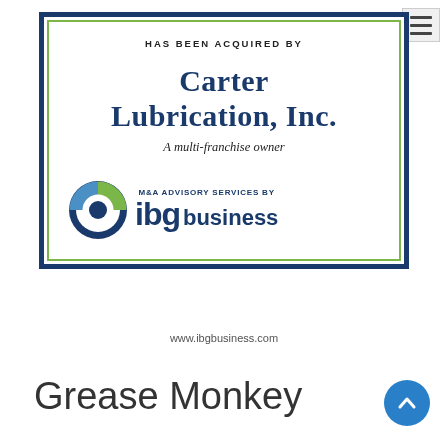[Figure (infographic): M&A tombstone announcement: Carter Lubrication, Inc. has been acquired by a multi-franchise owner. M&A Advisory Services by IBG Business. IBG Business logo with circular blue/green icon. Border: dark navy outer, green inner.]
www.ibgbusiness.com
Grease Monkey